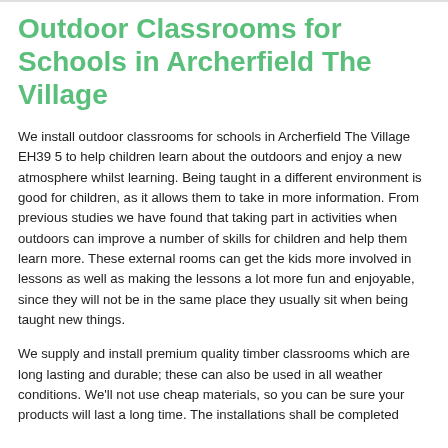Outdoor Classrooms for Schools in Archerfield The Village
We install outdoor classrooms for schools in Archerfield The Village EH39 5 to help children learn about the outdoors and enjoy a new atmosphere whilst learning. Being taught in a different environment is good for children, as it allows them to take in more information. From previous studies we have found that taking part in activities when outdoors can improve a number of skills for children and help them learn more. These external rooms can get the kids more involved in lessons as well as making the lessons a lot more fun and enjoyable, since they will not be in the same place they usually sit when being taught new things.
We supply and install premium quality timber classrooms which are long lasting and durable; these can also be used in all weather conditions. We'll not use cheap materials, so you can be sure your products will last a long time. The installations shall be completed